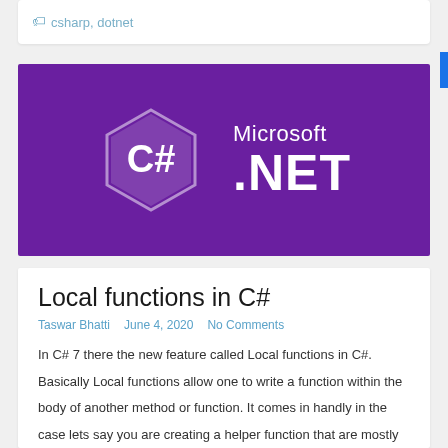csharp, dotnet
[Figure (logo): C# and Microsoft .NET logo banner with purple background, C# hexagonal logo on left, Microsoft .NET text on right in white]
Local functions in C#
Taswar Bhatti   June 4, 2020   No Comments
In C# 7 there the new feature called Local functions in C#. Basically Local functions allow one to write a function within the body of another method or function. It comes in handly in the case lets say you are creating a helper function that are mostly just used in one class or where the [...]